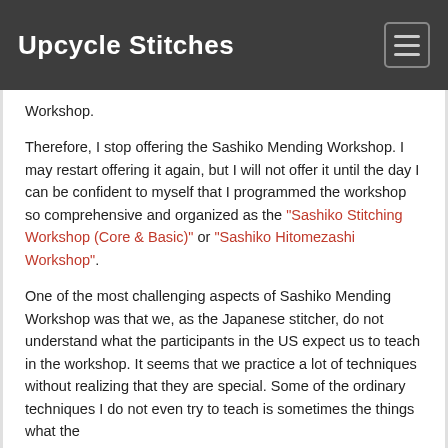Upcycle Stitches
Workshop.
Therefore, I stop offering the Sashiko Mending Workshop. I may restart offering it again, but I will not offer it until the day I can be confident to myself that I programmed the workshop so comprehensive and organized as the “Sashiko Stitching Workshop (Core & Basic)” or “Sashiko Hitomezashi Workshop”.
One of the most challenging aspects of Sashiko Mending Workshop was that we, as the Japanese stitcher, do not understand what the participants in the US expect us to teach in the workshop. It seems that we practice a lot of techniques without realizing that they are special. Some of the ordinary techniques I do not even try to teach is sometimes the things what the students wanted.